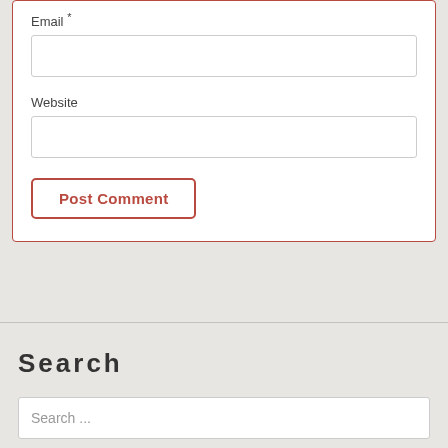Email *
Website
Post Comment
Search
Search ...